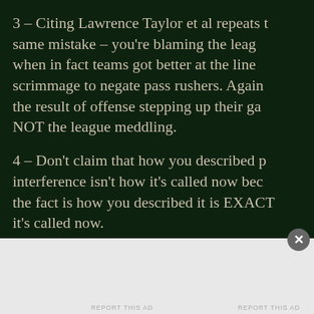3 – Citing Lawrence Taylor et al repeats the same mistake – you're blaming the league when in fact teams got better at the line of scrimmage to negate pass rushers. Again, the result of offense stepping up their game, NOT the league meddling.
4 – Don't claim that how you described pass interference isn't how it's called now because the fact is how you described it is EXACTLY how it's called now.
5 – Widening the field and running start...
Advertisements